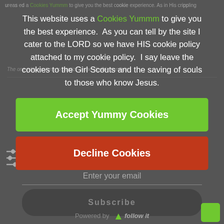This website uses a Cookies Yummm to give you the best experience.  As you can tell by the site I cater to the LORD so we have HIS cookie policy attached to my cookie policy.  I say leave the cookies to the Girl Scouts and the saving of souls to those who know Jesus.
Accept Yummy Cookies
Decline Cookies
Enter your email
Subscribe
Powered by follow it